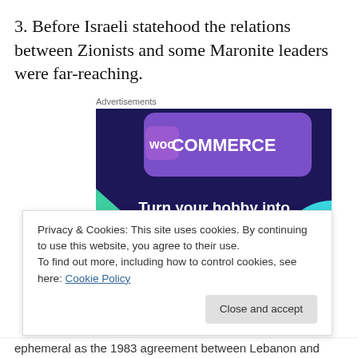3. Before Israeli statehood the relations between Zionists and some Maronite leaders were far-reaching.
Advertisements
[Figure (illustration): WooCommerce advertisement banner with purple/dark blue background, green and teal geometric shapes, WooCommerce logo in white, text reading 'Turn your hobby into a business in 8 steps']
Privacy & Cookies: This site uses cookies. By continuing to use this website, you agree to their use.
To find out more, including how to control cookies, see here: Cookie Policy
ephemeral as the 1983 agreement between Lebanon and